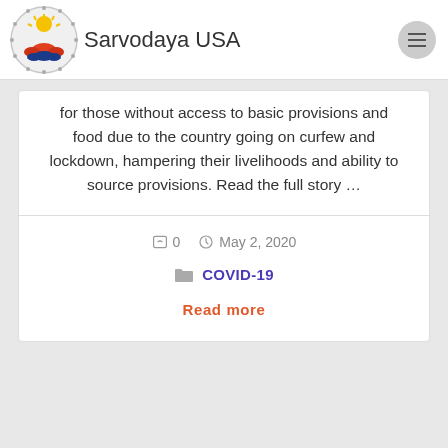Sarvodaya USA
for those without access to basic provisions and food due to the country going on curfew and lockdown, hampering their livelihoods and ability to source provisions. Read the full story …
0   May 2, 2020
COVID-19
Read more